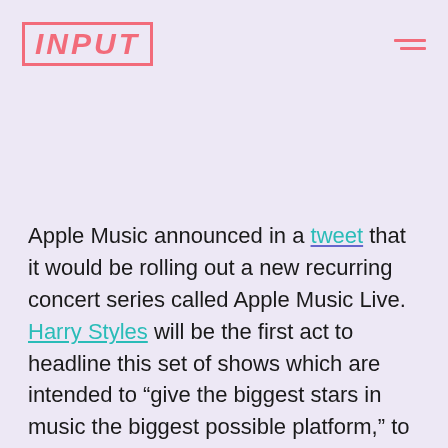INPUT
Apple Music announced in a tweet that it would be rolling out a new recurring concert series called Apple Music Live. Harry Styles will be the first act to headline this set of shows which are intended to “give the biggest stars in music the biggest possible platform,” to connect with their audiences. Styles will be performing live from UBS arena in Long Island, New York.